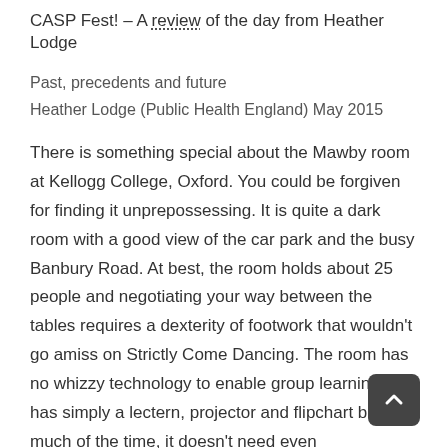CASP Fest! – A review of the day from Heather Lodge
Past, precedents and future
Heather Lodge (Public Health England) May 2015
There is something special about the Mawby room at Kellogg College, Oxford. You could be forgiven for finding it unprepossessing. It is quite a dark room with a good view of the car park and the busy Banbury Road. At best, the room holds about 25 people and negotiating your way between the tables requires a dexterity of footwork that wouldn't go amiss on Strictly Come Dancing. The room has no whizzy technology to enable group learning; it has simply a lectern, projector and flipchart but, much of the time, it doesn't need even